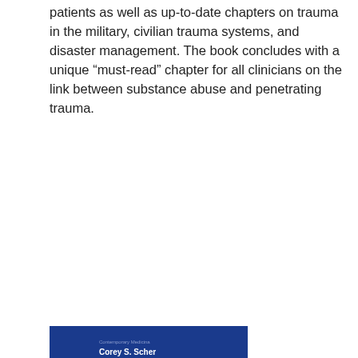patients as well as up-to-date chapters on trauma in the military, civilian trauma systems, and disaster management. The book concludes with a unique “must-read” chapter for all clinicians on the link between substance abuse and penetrating trauma.
[Figure (photo): Book cover of 'Anesthesia for Trauma: New Evidence and New Challenges', edited by Corey S. Scher. Dark blue cover with white title text and colorful abstract image strip in middle showing pink, red, and orange tones with circular shapes.]